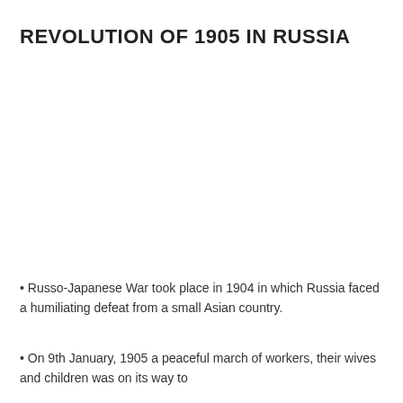REVOLUTION OF 1905 IN RUSSIA
• Russo-Japanese War took place in 1904 in which Russia faced a humiliating defeat from a small Asian country.
• On 9th January, 1905 a peaceful march of workers, their wives and children was on its way to